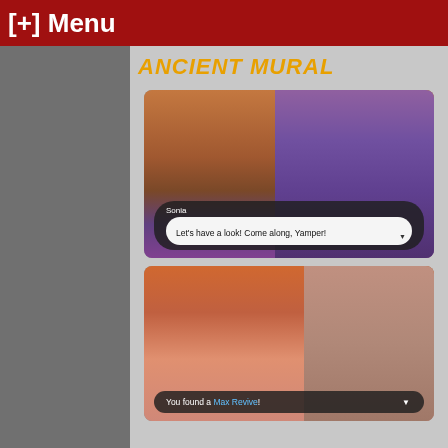[+] Menu
ANCIENT MURAL
[Figure (screenshot): Pokemon Sword/Shield gameplay screenshot showing Sonia and Yamper near a Pokémon Center with a dialog box reading 'Let's have a look! Come along, Yamper!']
[Figure (screenshot): Pokemon gameplay screenshot showing characters near a large decorative structure with dialog box reading 'You found a Max Revive!']